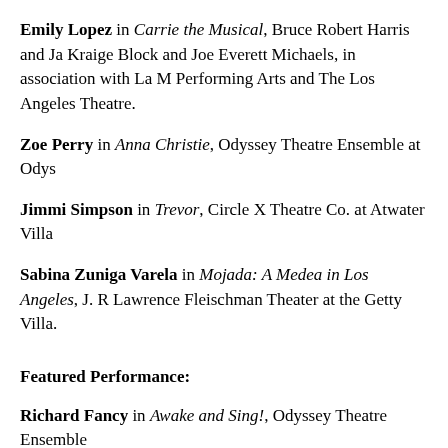Emily Lopez in Carrie the Musical, Bruce Robert Harris and Ja... Kraige Block and Joe Everett Michaels, in association with La M... Performing Arts and The Los Angeles Theatre.
Zoe Perry in Anna Christie, Odyssey Theatre Ensemble at Odys...
Jimmi Simpson in Trevor, Circle X Theatre Co. at Atwater Villa...
Sabina Zuniga Varela in Mojada: A Medea in Los Angeles, J. R... Lawrence Fleischman Theater at the Getty Villa.
Featured Performance:
Richard Fancy in Awake and Sing!, Odyssey Theatre Ensemble...